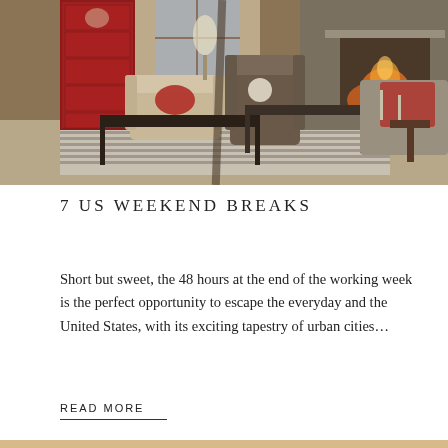[Figure (photo): Interior living room photo showing a cozy room with a red Asian cabinet, armchairs, a stone fireplace with a fire burning, a black wooden coffee table, striped rug, candlesticks, and warm lighting.]
7 US WEEKEND BREAKS
Short but sweet, the 48 hours at the end of the working week is the perfect opportunity to escape the everyday and the United States, with its exciting tapestry of urban cities…
READ MORE